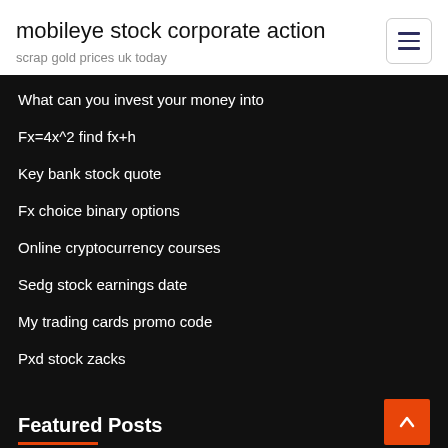mobileye stock corporate action
scrap gold prices uk today
What can you invest your money into
Fx=4x^2 find fx+h
Key bank stock quote
Fx choice binary options
Online cryptocurrency courses
Sedg stock earnings date
My trading cards promo code
Pxd stock zacks
Featured Posts